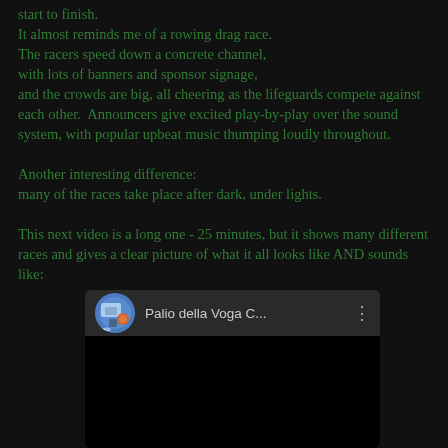start to finish.
It almost reminds me of a rowing drag race.
The racers speed down a concrete channel,
with lots of banners and sponsor signage,
and the crowds are big, all cheering as the lifeguards compete against each other.  Announcers give excited play-by-play over the sound system, with popular upbeat music thumping loudly throughout.

Another interesting difference:
many of the races take place after dark, under lights.

This next video is a long one - 25 minutes, but it shows many different races and gives a clear picture of what it all looks like AND sounds like:
[Figure (screenshot): YouTube video thumbnail/embed showing 'Palio della Voga C...' with a circular thumbnail image on the left and three-dot menu on the right, with a black video preview area below.]